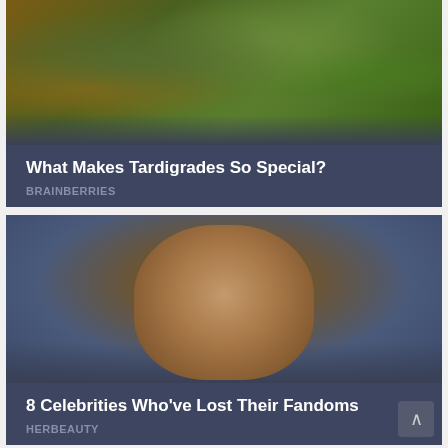[Figure (photo): Close-up microscopic or macro photo of tardigrades (water bears) with green textured organisms and brownish background]
What Makes Tardigrades So Special?
BRAINBERRIES
[Figure (photo): Portrait photo of a male celebrity with dark slicked hair, earrings, and a serious expression against a blue-grey background]
8 Celebrities Who've Lost Their Fandoms
HERBEAUTY